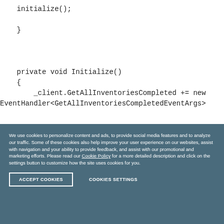initialize();
    }


    private void Initialize()
    {
        _client.GetAllInventoriesCompleted += new
EventHandler<GetAllInventoriesCompletedEventArgs>
We use cookies to personalize content and ads, to provide social media features and to analyze our traffic. Some of these cookies also help improve your user experience on our websites, assist with navigation and your ability to provide feedback, and assist with our promotional and marketing efforts. Please read our Cookie Policy for a more detailed description and click on the settings button to customize how the site uses cookies for you.
ACCEPT COOKIES
COOKIES SETTINGS